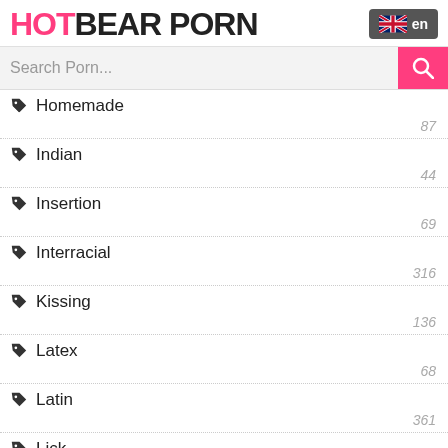HOTBEAR PORN
Homemade 87
Indian 44
Insertion 69
Interracial 316
Kissing 136
Latex 68
Latin 361
Lick 73
Lingerie 103
Machines 71